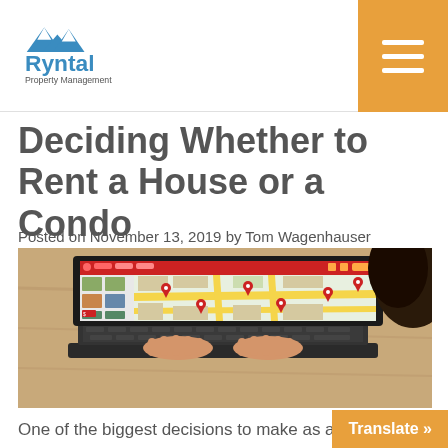Ryntal Property Management
Deciding Whether to Rent a House or a Condo
Posted on November 13, 2019 by Tom Wagenhauser
[Figure (photo): Person using a laptop showing a real estate map search application with red location pins on a map]
One of the biggest decisions to make as a tenant is whether to rent a house or a condo. Ea... benefits and drawbacks, including price...